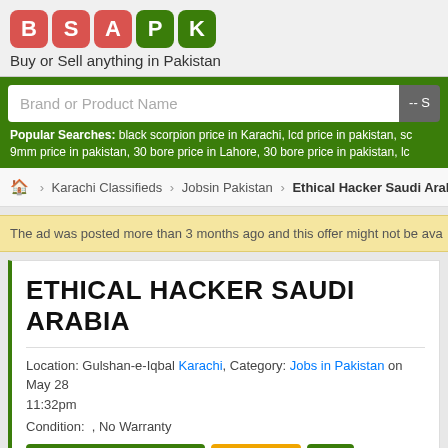[Figure (logo): BSAPK logo letters in colored rounded squares]
Buy or Sell anything in Pakistan
Brand or Product Name [search input] -- S
Popular Searches: black scorpion price in Karachi, lcd price in pakistan, sc 9mm price in pakistan, 30 bore price in Lahore, 30 bore price in pakistan, lc
🏠 > Karachi Classifieds > Jobsin Pakistan > Ethical Hacker Saudi Arabia
The ad was posted more than 3 months ago and this offer might not be ava
ETHICAL HACKER SAUDI ARABIA
Location: Gulshan-e-Iqbal Karachi, Category: Jobs in Pakistan on May 28 11:32pm
Condition: , No Warranty
AD POSTED BY HOME USER | AD ID: 59536 | NEW
Tweet